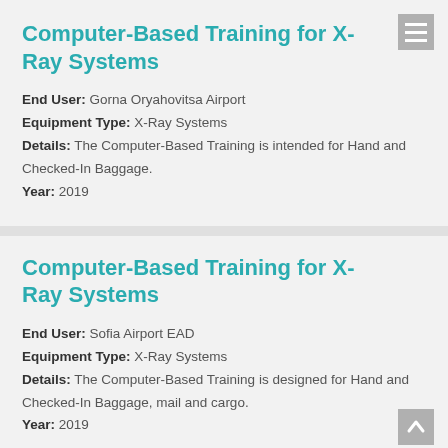Computer-Based Training for X-Ray Systems
End User: Gorna Oryahovitsa Airport
Equipment Type: X-Ray Systems
Details: The Computer-Based Training is intended for Hand and Checked-In Baggage.
Year: 2019
Computer-Based Training for X-Ray Systems
End User: Sofia Airport EAD
Equipment Type: X-Ray Systems
Details: The Computer-Based Training is designed for Hand and Checked-In Baggage, mail and cargo.
Year: 2019